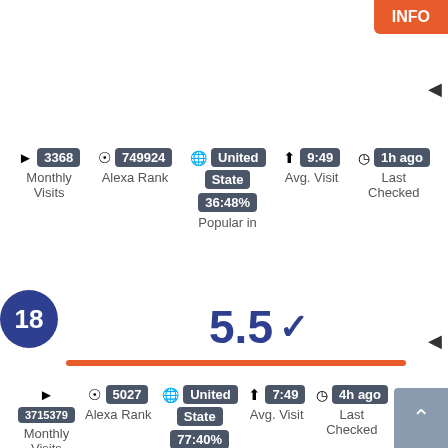INFO
3368 Monthly Visits | 749924 Alexa Rank | United State | 9:49 Avg. Visit | 1h ago Last Checked | 36:48% Popular in
18
5.5 ✓
3715379 Monthly Visits | 5027 Alexa Rank | United State | 7:49 Avg. Visit | 4h ago Last Checked | 77:40% Popular in